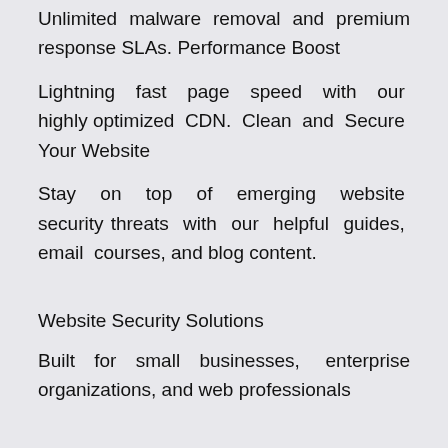Unlimited malware removal and premium response SLAs. Performance Boost
Lightning fast page speed with our highly optimized CDN. Clean and Secure Your Website
Stay on top of emerging website security threats with our helpful guides, email courses, and blog content.
Website Security Solutions
Built for small businesses, enterprise organizations, and web professionals
Sucuri Platform
The Sucuri Platform is an all-in-one security...